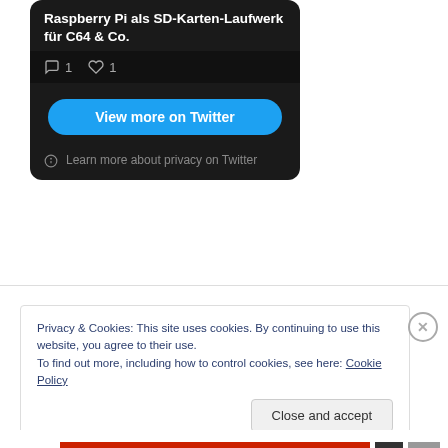[Figure (screenshot): Twitter/X embedded widget showing tweet title 'Raspberry Pi als SD-Karten-Laufwerk für C64 & Co.' with 1 comment and 1 like, a 'View more on Twitter' button, and a privacy link, all on dark background]
Privacy & Cookies: This site uses cookies. By continuing to use this website, you agree to their use.
To find out more, including how to control cookies, see here: Cookie Policy
Close and accept